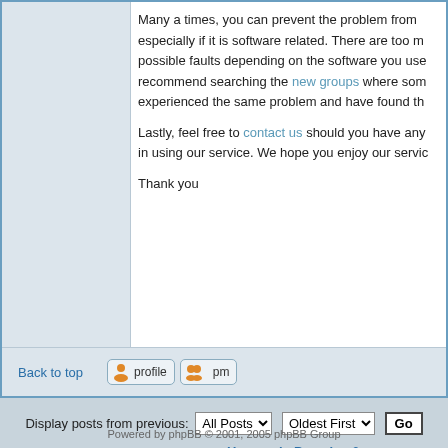Many a times, you can prevent the problem from especially if it is software related. There are too m possible faults depending on the software you use recommend searching the new groups where som experienced the same problem and have found th
Lastly, feel free to contact us should you have any in using our service. We hope you enjoy our servic
Thank you
Back to top
Display posts from previous: All Posts Oldest First Go
newtopic  postreply  Hyperspin Presales & Support Forum Index -> Improving Uptime  All times are G
Page 1 of 1
Jump to: Improving Uptime
You cannot post new topi You cannot reply to topi You cannot edit your pos You cannot delete your pos You cannot vote in pol
Powered by phpBB © 2001, 2005 phpBB Group